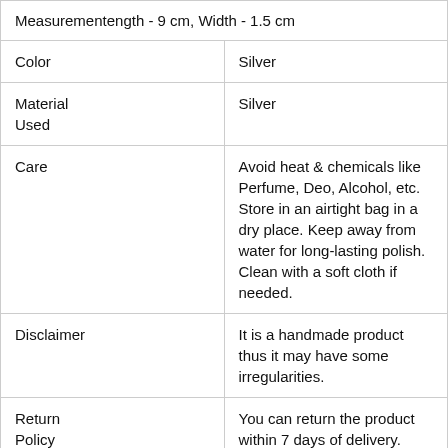| Measurement | length - 9 cm, Width - 1.5 cm |
| Color | Silver |
| Material Used | Silver |
| Care | Avoid heat & chemicals like Perfume, Deo, Alcohol, etc. Store in an airtight bag in a dry place. Keep away from water for long-lasting polish. Clean with a soft cloth if needed. |
| Disclaimer | It is a handmade product thus it may have some irregularities. |
| Return Policy | You can return the product within 7 days of delivery. |
| Refund | For information regarding the refund |